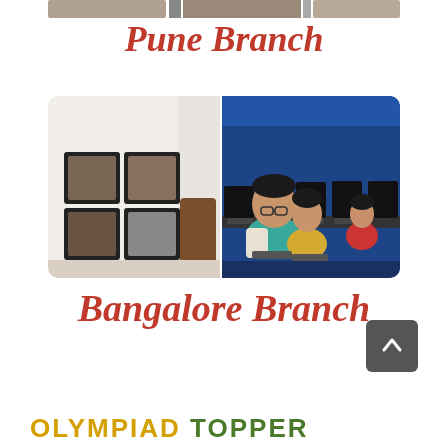[Figure (photo): Partial top strip of photos from Pune Branch]
Pune Branch
[Figure (photo): Two photos side by side showing Bangalore Branch office interior with chandelier and framed photos on left, and students working at computers on right]
Bangalore Branch
[Figure (other): Scroll-to-top button (dark grey square with up arrow)]
OLYMPIAD TOPPER